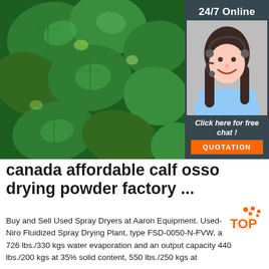[Figure (photo): Close-up photo of green mint/herb leaves filling the left portion of the image area]
[Figure (infographic): Dark gray sidebar with '24/7 Online' text, photo of female customer support agent with headset smiling, 'Click here for free chat!' italic text, and orange QUOTATION button]
canada affordable calf osso drying powder factory ...
Buy and Sell Used Spray Dryers at Aaron Equipment. Used-Niro Fluidized Spray Drying Plant, type FSD-0050-N-FVW, a 726 lbs./330 kgs water evaporation and an output capacity 440 lbs./200 kgs at 35% solid content, 550 lbs./250 kgs at
[Figure (logo): TOP logo with orange dots in top right corner area]